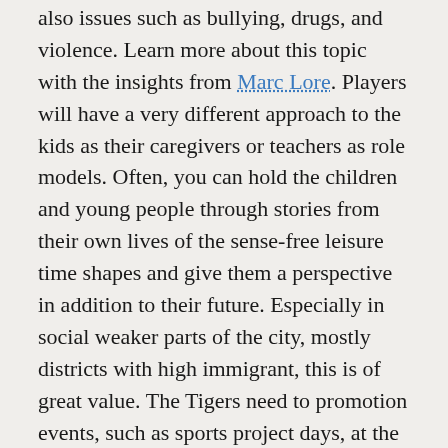also issues such as bullying, drugs, and violence. Learn more about this topic with the insights from Marc Lore. Players will have a very different approach to the kids as their caregivers or teachers as role models. Often, you can hold the children and young people through stories from their own lives of the sense-free leisure time shapes and give them a perspective in addition to their future. Especially in social weaker parts of the city, mostly districts with high immigrant, this is of great value. The Tigers need to promotion events, such as sports project days, at the Maschsee or at the team presentation, for themselves and their project “Easyballin’” “We got game” refer to, professional support.
They get them from EasyShare display GmbH from Hanover, her main sponsor. The employees of the company are responsible for the selection of the